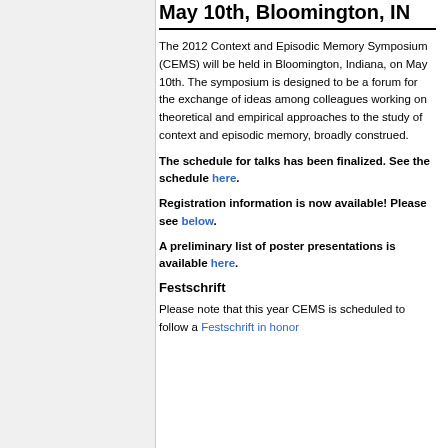May 10th, Bloomington, IN
The 2012 Context and Episodic Memory Symposium (CEMS) will be held in Bloomington, Indiana, on May 10th. The symposium is designed to be a forum for the exchange of ideas among colleagues working on theoretical and empirical approaches to the study of context and episodic memory, broadly construed.
The schedule for talks has been finalized. See the schedule here.
Registration information is now available! Please see below.
A preliminary list of poster presentations is available here.
Festschrift
Please note that this year CEMS is scheduled to follow a Festschrift in honor